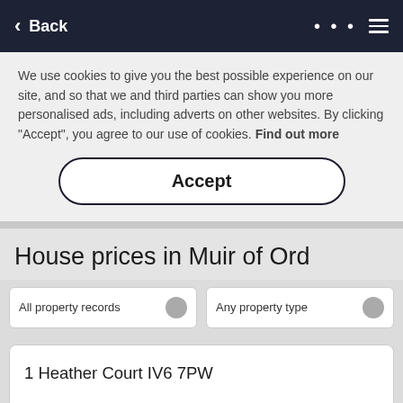< Back
We use cookies to give you the best possible experience on our site, and so that we and third parties can show you more personalised ads, including adverts on other websites. By clicking "Accept", you agree to our use of cookies. Find out more
Accept
House prices in Muir of Ord
All property records
Any property type
1 Heather Court IV6 7PW